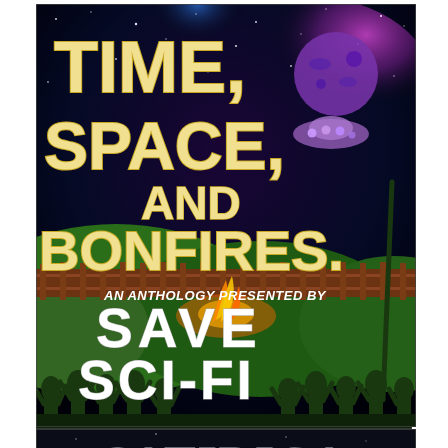[Figure (illustration): Book cover for 'Time, Space, and Bonfires' — an anthology presented by Save Sci-Fi. Dark space background with colorful nebula, alien spacecraft, green hills, bonfire and silhouetted crowd celebrating below. Large cream/yellow retro lettering.]
[Figure (illustration): Book cover for 'SATIRICA — An Anthology of Satirical Speculative Fiction'. Dark background with large metallic/chrome title text and subtitle below.]